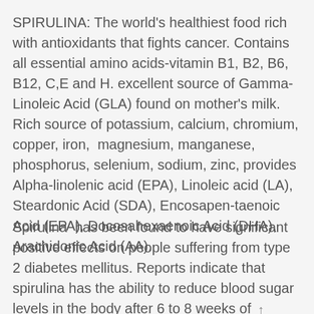SPIRULINA: The world's healthiest food rich with antioxidants that fights cancer. Contains all essential amino acids-vitamin B1, B2, B6, B12, C,E and H. excellent source of Gamma-Linoleic Acid (GLA) found on mother's milk. Rich source of potassium, calcium, chromium, copper, iron, magnesium, manganese, phosphorus, selenium, sodium, zinc, provides Alpha-linolenic acid (EPA), Linoleic acid (LA), Steardonic Acid (SDA), Encosapen-taenoic Acid (EPA), Docosahexaenoic Acid (DHA), Arachidonic Acid (AA).
Spirulina has been found to have significant positive effects on people suffering from type 2 diabetes mellitus. Reports indicate that spirulina has the ability to reduce blood sugar levels in the body after 6 to 8 weeks of